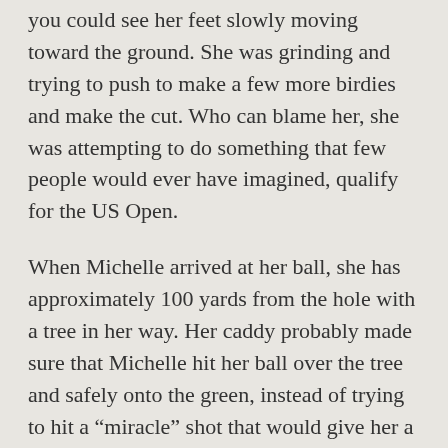you could see her feet slowly moving toward the ground. She was grinding and trying to push to make a few more birdies and make the cut. Who can blame her, she was attempting to do something that few people would ever have imagined, qualify for the US Open.
When Michelle arrived at her ball, she has approximately 100 yards from the hole with a tree in her way. Her caddy probably made sure that Michelle hit her ball over the tree and safely onto the green, instead of trying to hit a “miracle” shot that would give her a tap-in birdie. Unfortunately for Michelle, this is when I felt the “dream”, at least for this year, was over.
Michelle’s demeanor and facial expressions turned from happy-go-lucky to oh-my-gosh what am I